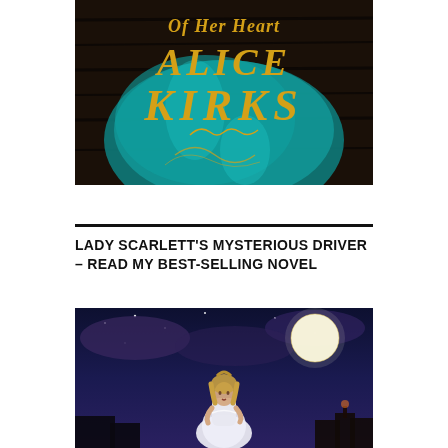[Figure (illustration): Book cover for a historical romance novel showing gold decorative text 'Of Her Heart' and 'Alice Kirks' on a teal/turquoise glittery fabric background with dark wood panels.]
LADY SCARLETT'S MYSTERIOUS DRIVER – READ MY BEST-SELLING NOVEL
[Figure (illustration): Book cover showing a beautiful woman in a white period dress with moonlit night sky, rooftops, and a full moon behind her.]